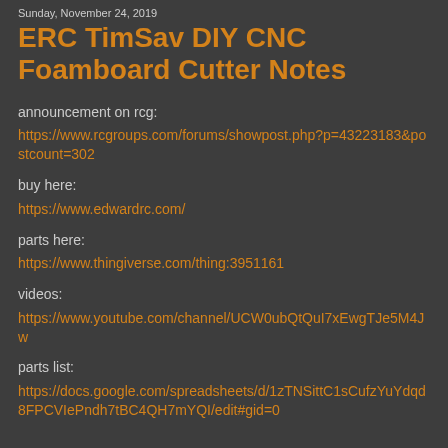Sunday, November 24, 2019
ERC TimSav DIY CNC Foamboard Cutter Notes
announcement on rcg:
https://www.rcgroups.com/forums/showpost.php?p=43223183&postcount=302
buy here:
https://www.edwardrc.com/
parts here:
https://www.thingiverse.com/thing:3951161
videos:
https://www.youtube.com/channel/UCW0ubQtQuI7xEwgTJe5M4Jw
parts list:
https://docs.google.com/spreadsheets/d/1zTNSittC1sCufzYuYdqd8FPCVIePndh7tBC4QH7mYQI/edit#gid=0